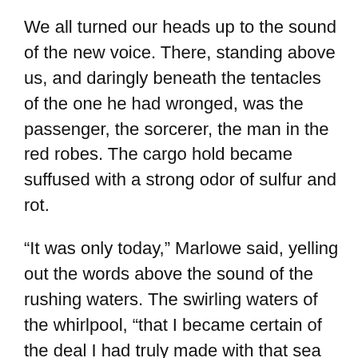We all turned our heads up to the sound of the new voice. There, standing above us, and daringly beneath the tentacles of the one he had wronged, was the passenger, the sorcerer, the man in the red robes. The cargo hold became suffused with a strong odor of sulfur and rot.
“It was only today,” Marlowe said, yelling out the words above the sound of the rushing waters. The swirling waters of the whirlpool, “that I became certain of the deal I had truly made with that sea demon!” He pointed up at the passenger.
I could just see the points of the harpoons that were turned, some against the passenger, some still at the creature, whose form I discerned looming behind the red-robed man.